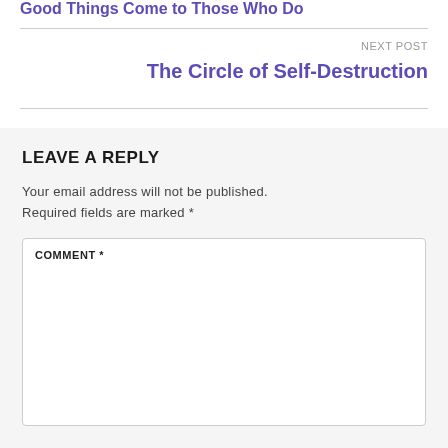Good Things Come to Those Who Do
NEXT POST
The Circle of Self-Destruction
LEAVE A REPLY
Your email address will not be published. Required fields are marked *
COMMENT *